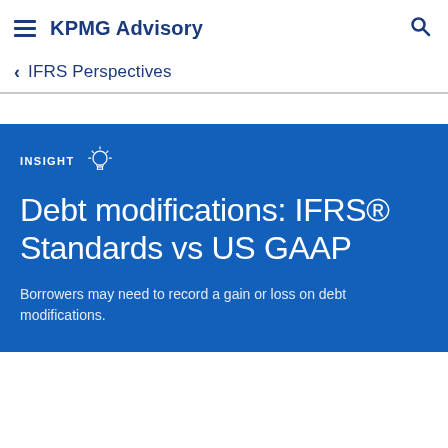KPMG Advisory
IFRS Perspectives
Debt modifications: IFRS® Standards vs US GAAP
Borrowers may need to record a gain or loss on debt modifications.